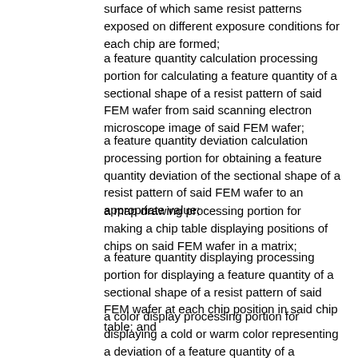surface of which same resist patterns exposed on different exposure conditions for each chip are formed;
a feature quantity calculation processing portion for calculating a feature quantity of a sectional shape of a resist pattern of said FEM wafer from said scanning electron microscope image of said FEM wafer;
a feature quantity deviation calculation processing portion for obtaining a feature quantity deviation of the sectional shape of a resist pattern of said FEM wafer to an appropriate value;
a map drawing processing portion for making a chip table displaying positions of chips on said FEM wafer in a matrix;
a feature quantity displaying processing portion for displaying a feature quantity of a sectional shape of a resist pattern of said FEM wafer at each chip position in said chip table; and
a color display processing portion for displaying a cold or warm color representing a deviation of a feature quantity of a sectional shape of a resist pattern to said appropriate value at each chip position in said chip table, and
exhibit the resist pattern at each chip position in said chip table,